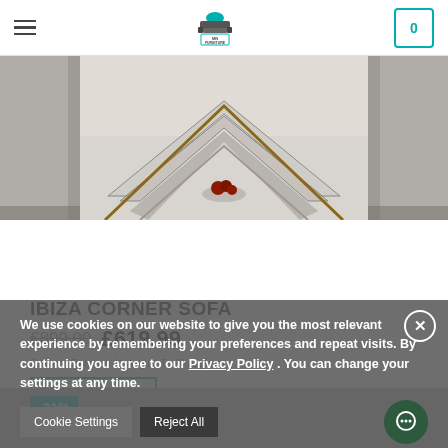MN FURNITURE — navigation header with hamburger menu, logo, and cart (0)
[Figure (photo): Interior room photo showing a geometric patterned rug with a bowl of fruit, grey sofa visible at edges]
IBIZA CORNER SOFA
€899.00  £619.99
Delivery: Between 11 August To 28 August
ADD TO CART
We use cookies on our website to give you the most relevant experience by remembering your preferences and repeat visits. By continuing you agree to our Privacy Policy . You can change your settings at any time.
Cookie Settings   Reject All
Accept
-31%